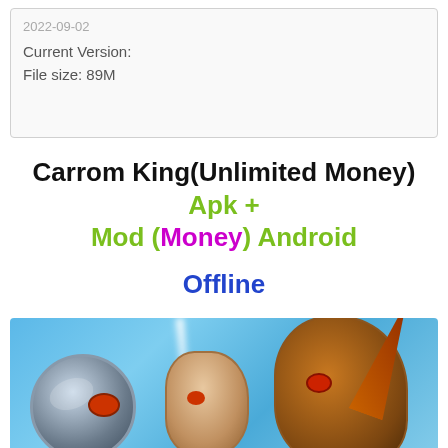2022-09-02
Current Version:
File size: 89M
Carrom King(Unlimited Money) Apk + Mod (Money) Android Offline
[Figure (illustration): Game artwork showing fantasy creatures/characters on a blue background for Carrom King game]